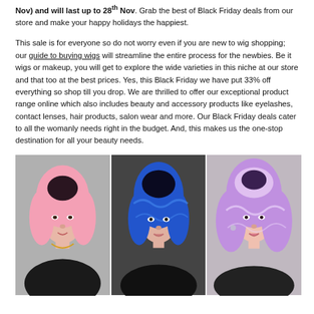Nov) and will last up to 28th Nov. Grab the best of Black Friday deals from our store and make your happy holidays the happiest.
This sale is for everyone so do not worry even if you are new to wig shopping; our guide to buying wigs will streamline the entire process for the newbies. Be it wigs or makeup, you will get to explore the wide varieties in this niche at our store and that too at the best prices. Yes, this Black Friday we have put 33% off everything so shop till you drop. We are thrilled to offer our exceptional product range online which also includes beauty and accessory products like eyelashes, contact lenses, hair products, salon wear and more. Our Black Friday deals cater to all the womanly needs right in the budget. And, this makes us the one-stop destination for all your beauty needs.
[Figure (photo): Three women with colorful wigs: left woman with pink wig wearing black turtleneck with necklace, center woman with blue wig wearing black outfit, right woman with purple/lavender wig with wavy style.]